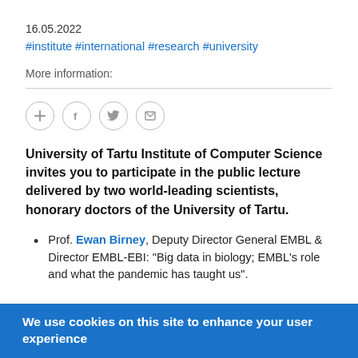16.05.2022
#institute #international #research #university
More information:
[Figure (other): Social sharing icons: plus, Facebook, Twitter, email — circular outlined buttons]
University of Tartu Institute of Computer Science invites you to participate in the public lecture delivered by two world-leading scientists, honorary doctors of the University of Tartu.
Prof. Ewan Birney, Deputy Director General EMBL & Director EMBL-EBI: "Big data in biology; EMBL's role and what the pandemic has taught us".
We use cookies on this site to enhance your user experience